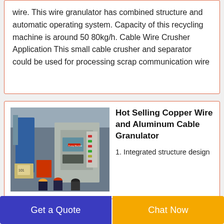wire. This wire granulator has combined structure and automatic operating system. Capacity of this recycling machine is around 50 80kg/h. Cable Wire Crusher Application This small cable crusher and separator could be used for processing scrap communication wire
[Figure (photo): Photo of a large cable wire granulator machine in an industrial facility, with workers in hard hats observing the equipment.]
Hot Selling Copper Wire and Aluminum Cable Granulator
1. Integrated structure design
compact structure small occupied area easy to move and it
Get a Quote
Chat Now